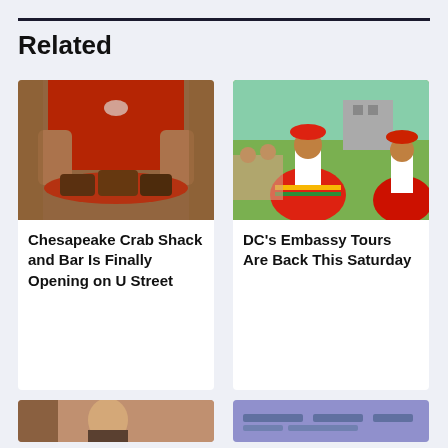Related
[Figure (photo): Person in red shirt with crab logo holding a tray of Chesapeake blue crabs]
Chesapeake Crab Shack and Bar Is Finally Opening on U Street
[Figure (photo): Colorful dancers in traditional red and multicolored costumes performing outdoors at DC Embassy event]
DC's Embassy Tours Are Back This Saturday
[Figure (photo): Partial image of a person, bottom card left]
[Figure (photo): Partial image with blue/purple tones, bottom card right]